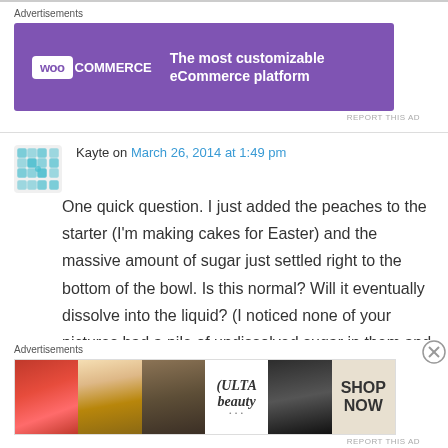[Figure (infographic): WooCommerce advertisement banner: purple background with WooCommerce logo and text 'The most customizable eCommerce platform']
Kayte on March 26, 2014 at 1:49 pm
One quick question. I just added the peaches to the starter (I'm making cakes for Easter) and the massive amount of sugar just settled right to the bottom of the bowl. Is this normal? Will it eventually dissolve into the liquid? (I noticed none of your pictures had a pile of undissolved sugar in them and started to worry!)
[Figure (infographic): ULTA beauty advertisement banner with makeup photos and 'SHOP NOW' text]